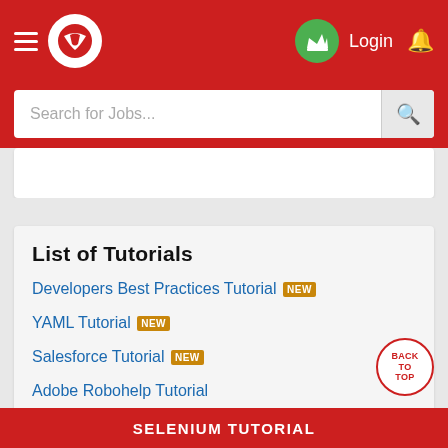Login
Search for Jobs...
List of Tutorials
Developers Best Practices Tutorial NEW
YAML Tutorial NEW
Salesforce Tutorial NEW
Adobe Robohelp Tutorial
Sublime Text Tutorial
Gitlab Tutorial
SELENIUM TUTORIAL